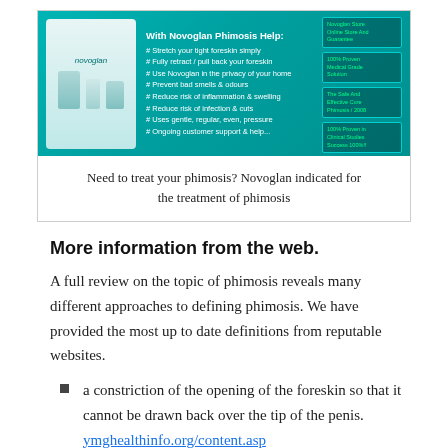[Figure (illustration): Novoglan Phimosis Help advertisement banner with teal background, product bottles on left, bullet points listing product benefits in white text, and side blocks with green text on right.]
Need to treat your phimosis? Novoglan indicated for the treatment of phimosis
More information from the web.
A full review on the topic of phimosis reveals many different approaches to defining phimosis. We have provided the most up to date definitions from reputable websites.
a constriction of the opening of the foreskin so that it cannot be drawn back over the tip of the penis.
ymghealthinfo.org/content.asp